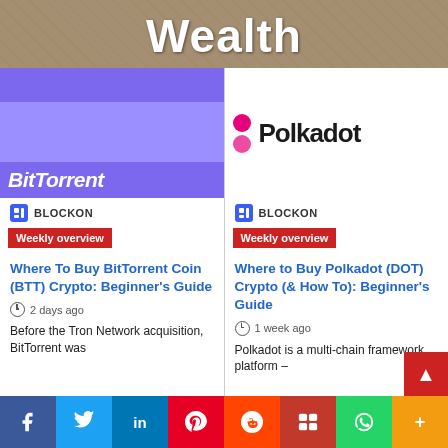Wealth
[Figure (screenshot): BitTorrent (BTT) article card with purple logo image, BLOCKONE badge, Weekly overview tag, article title, timestamp, and snippet]
Where To Buy BitTorrent Coin (BTT) Crypto: Beginner's Guide
2 days ago
Before the Tron Network acquisition, BitTorrent was
[Figure (screenshot): Polkadot (DOT) article card with Polkadot logo, BLOCKONE badge, Weekly overview tag, article title, timestamp, and snippet]
Where to Buy Polkadot (DOT) Crypto (& How To): Beginner's Guide
1 week ago
Polkadot is a multi-chain framework platform –
[Figure (infographic): Social sharing bar with Facebook, Twitter, LinkedIn, Pinterest, Reddit, Mix, WhatsApp, and More buttons]